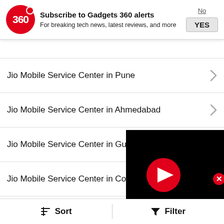Subscribe to Gadgets 360 alerts
For breaking tech news, latest reviews, and more
Jio Mobile Service Center in Pune
Jio Mobile Service Center in Ahmedabad
Jio Mobile Service Center in Gurgaon
Jio Mobile Service Center in Coimbatore
Jio Mobile Service Center in Jaipur
Jio Mobile Service Center in Lucknow
Jio Mobile Service Center in Surat
Jio Mobile Service Center in Udai…
[Figure (screenshot): Video player popup with red play button on black background, with red close button]
Sort   Filter